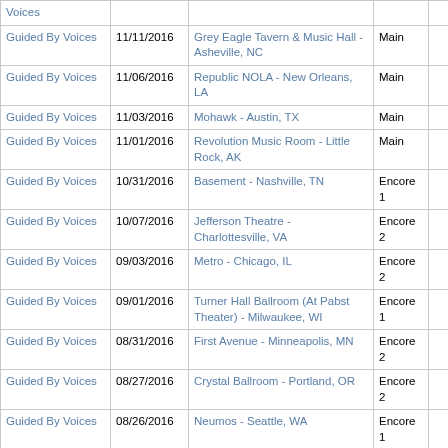| Artist | Date | Venue | Set |  |  |
| --- | --- | --- | --- | --- | --- |
| Guided By Voices |  |  |  |  |  |
| Guided By Voices | 11/11/2016 | Grey Eagle Tavern & Music Hall - Asheville, NC | Main |  |  |
| Guided By Voices | 11/06/2016 | Republic NOLA - New Orleans, LA | Main |  |  |
| Guided By Voices | 11/03/2016 | Mohawk - Austin, TX | Main |  |  |
| Guided By Voices | 11/01/2016 | Revolution Music Room - Little Rock, AK | Main |  |  |
| Guided By Voices | 10/31/2016 | Basement - Nashville, TN | Encore 1 |  |  |
| Guided By Voices | 10/07/2016 | Jefferson Theatre - Charlottesville, VA | Encore 2 |  |  |
| Guided By Voices | 09/03/2016 | Metro - Chicago, IL | Encore 2 |  |  |
| Guided By Voices | 09/01/2016 | Turner Hall Ballroom (At Pabst Theater) - Milwaukee, WI | Encore 1 |  |  |
| Guided By Voices | 08/31/2016 | First Avenue - Minneapolis, MN | Encore 2 |  |  |
| Guided By Voices | 08/27/2016 | Crystal Ballroom - Portland, OR | Encore 2 |  |  |
| Guided By Voices | 08/26/2016 | Neumos - Seattle, WA | Encore 1 |  |  |
| Guided By Voices | 08/23/2016 | Independent - San Francisco, CA | Main |  |  |
| Guided By Voices | 08/20/2016 | Teragram Ballroom - Los Angeles, CA | Main |  |  |
| Guided By Voices | 08/17/2016 | Belly Up Tavern - Solana Beach, CA | Encore 1 |  |  |
| Guided By Voices | 08/16/2016 | Crescent Ballroom - Phoenix, AZ | Encore 2 |  |  |